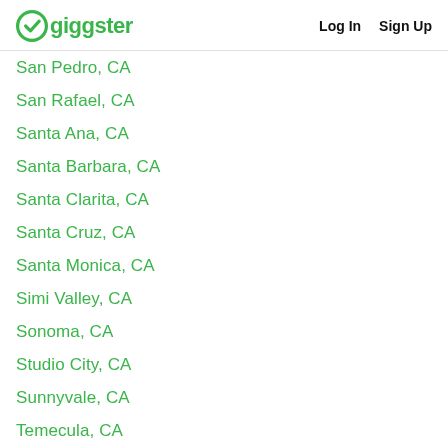Giggster | Log In | Sign Up
San Pedro, CA
San Rafael, CA
Santa Ana, CA
Santa Barbara, CA
Santa Clarita, CA
Santa Cruz, CA
Santa Monica, CA
Simi Valley, CA
Sonoma, CA
Studio City, CA
Sunnyvale, CA
Temecula, CA
Thousand Oaks, CA (partial)